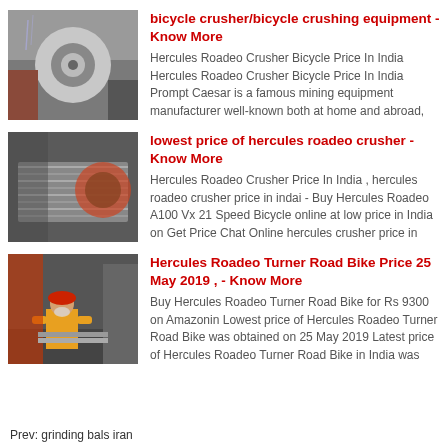[Figure (photo): Industrial metal roller/coil machinery with water]
bicycle crusher/bicycle crushing equipment - Know More
Hercules Roadeo Crusher Bicycle Price In India Hercules Roadeo Crusher Bicycle Price In India Prompt Caesar is a famous mining equipment manufacturer well-known both at home and abroad,
[Figure (photo): Industrial conveyor or metal processing equipment]
lowest price of hercules roadeo crusher - Know More
Hercules Roadeo Crusher Price In India , hercules roadeo crusher price in indai - Buy Hercules Roadeo A100 Vx 21 Speed Bicycle online at low price in India on Get Price Chat Online hercules crusher price in
[Figure (photo): Worker in hard hat and orange vest at industrial facility]
Hercules Roadeo Turner Road Bike Price 25 May 2019 , - Know More
Buy Hercules Roadeo Turner Road Bike for Rs 9300 on Amazonin Lowest price of Hercules Roadeo Turner Road Bike was obtained on 25 May 2019 Latest price of Hercules Roadeo Turner Road Bike in India was
Prev: grinding bals iran